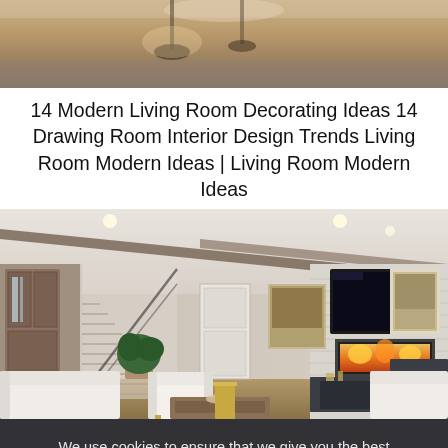[Figure (photo): Partial top view of a modern living room or interior space, showing ceiling with warm tones.]
14 Modern Living Room Decorating Ideas 14 Drawing Room Interior Design Trends Living Room Modern Ideas | Living Room Modern Ideas
[Figure (photo): Modern living room interior with exposed wood ceiling beams, staircase, white sofas, fireplace with TV above it, and a dark media cabinet.]
We use cookies to ensure that we give you the best experience on our website. If you continue to use this site we will assume that you are happy with it.